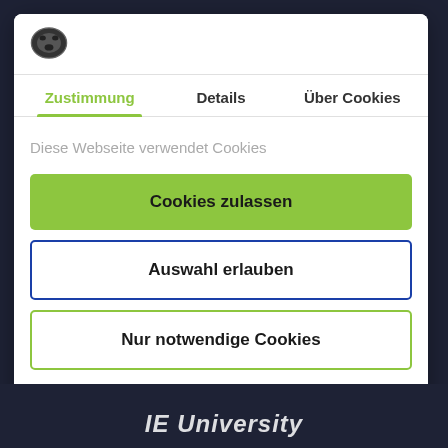[Figure (logo): Cookiebot shield/cookie logo in dark gray]
Zustimmung	Details	Über Cookies
Diese Webseite verwendet Cookies
Cookies zulassen
Auswahl erlauben
Nur notwendige Cookies
Powered by Cookiebot by Usercentrics
IE University